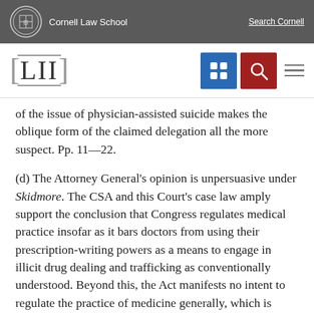Cornell Law School
of the issue of physician-assisted suicide makes the oblique form of the claimed delegation all the more suspect. Pp. 11—22.
(d) The Attorney General's opinion is unpersuasive under Skidmore. The CSA and this Court's case law amply support the conclusion that Congress regulates medical practice insofar as it bars doctors from using their prescription-writing powers as a means to engage in illicit drug dealing and trafficking as conventionally understood. Beyond this, the Act manifests no intent to regulate the practice of medicine generally, which is understandable given federalism's structure and limitations. The CSA's structure and operation presume and rely upon a functioning